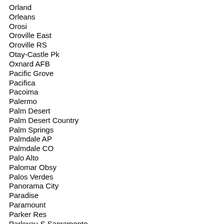Orland
Orleans
Orosi
Oroville East
Oroville RS
Otay-Castle Pk
Oxnard AFB
Pacific Grove
Pacifica
Pacoima
Palermo
Palm Desert
Palm Desert Country
Palm Springs
Palmdale AP
Palmdale CO
Palo Alto
Palomar Obsy
Palos Verdes
Panorama City
Paradise
Paramount
Parker Res
Parkway-S.Sacramento
Parlier
Pasadena
Paso Robles AP
Paso Robles CO
Patterson
Pedley
Pendleton MCB
Pendleton MCB Coast